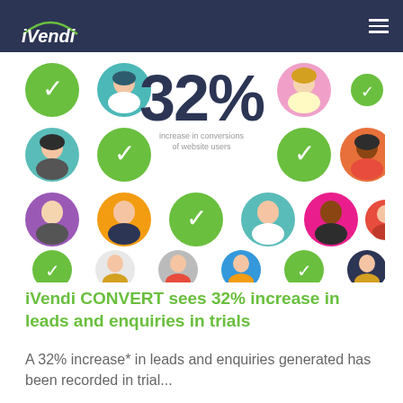iVendi
[Figure (infographic): Infographic showing 32% increase in conversions of website users, with a grid of avatar icons (people) and green checkmark circles arranged around the central statistic.]
iVendi CONVERT sees 32% increase in leads and enquiries in trials
A 32% increase* in leads and enquiries generated has been recorded in trial...